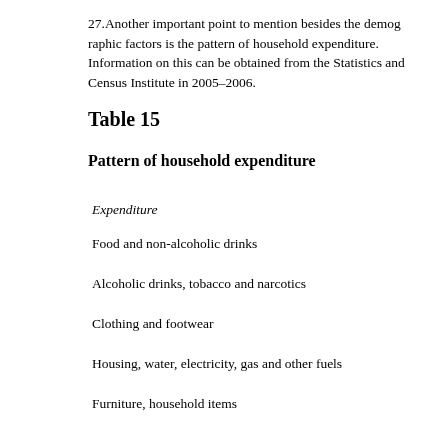27. Another important point to mention besides the demographic factors is the pattern of household expenditure. Information on this can be obtained from the survey conducted by the Statistics and Census Institute in 2005–2006.
Table 15
Pattern of household expenditure
| Expenditure |
| --- |
| Food and non-alcoholic drinks |
| Alcoholic drinks, tobacco and narcotics |
| Clothing and footwear |
| Housing, water, electricity, gas and other fuels |
| Furniture, household items |